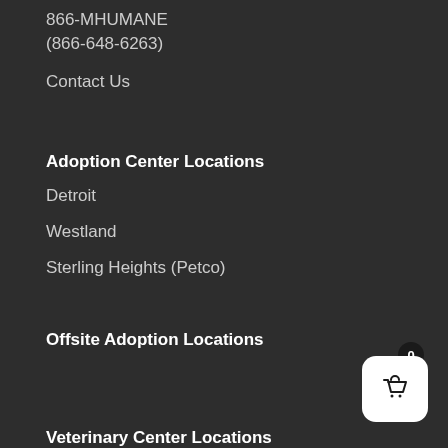866-MHUMANE
(866-648-6263)
Contact Us
Adoption Center Locations
Detroit
Westland
Sterling Heights (Petco)
Offsite Adoption Locations
Veterinary Center Locations